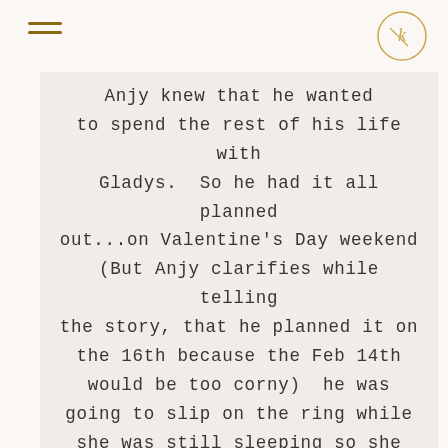[hamburger menu icon] [logo circle icon]
Anjy knew that he wanted to spend the rest of his life with Gladys.  So he had it all planned out...on Valentine's Day weekend (But Anjy clarifies while telling the story, that he planned it on the 16th because the Feb 14th would be too corny)  he was going to slip on the ring while she was still sleeping so she would wake up with the ring on her hand.  So the day had arrived, and while Anjy was trying to get the ring on her